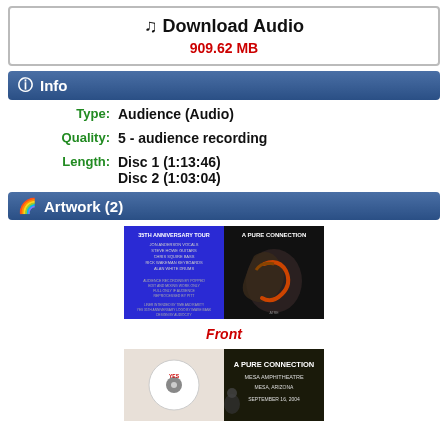Download Audio
909.62 MB
Info
Type: Audience (Audio)
Quality: 5 - audience recording
Length: Disc 1 (1:13:46) Disc 2 (1:03:04)
Artwork (2)
[Figure (photo): Concert artwork front cover - 35th Anniversary Tour / A Pure Connection, showing text on blue background and hand holding snake]
Front
[Figure (photo): Concert artwork back cover - A Pure Connection, Mesa Amphitheatre, Mesa Arizona, September 16, 2004]